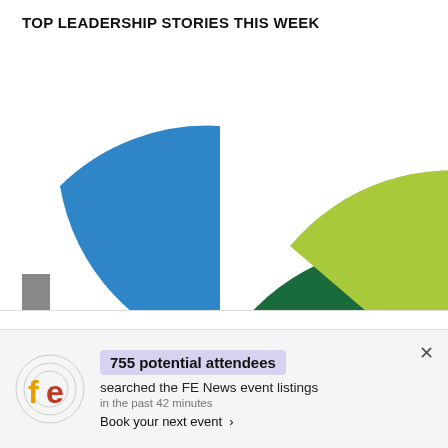TOP LEADERSHIP STORIES THIS WEEK
[Figure (pie-chart): Partial pie/donut chart with three colored segments visible: large blue segment on left, dark green segment in center, yellow-green segment on right. Chart is cropped at the bottom.]
We use cookies on our website to give you the most relevant experience by remembering your preferences and repeat visits. By clicking “Accept”, you consent to
755 potential attendees searched the FE News event listings in the past 42 minutes Book your next event ›